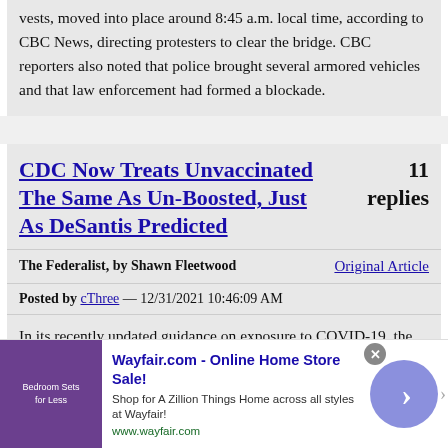vests, moved into place around 8:45 a.m. local time, according to CBC News, directing protesters to clear the bridge. CBC reporters also noted that police brought several armored vehicles and that law enforcement had formed a blockade.
CDC Now Treats Unvaccinated The Same As Un-Boosted, Just As DeSantis Predicted
11 replies
The Federalist, by Shawn Fleetwood   Original Article
Posted by cThree — 12/31/2021 10:46:09 AM
In its recently updated guidance on exposure to COVID-19, the Centers for Disease Control and Prevention (CDC)
[Figure (screenshot): Wayfair.com advertisement banner showing bedroom furniture image, ad title 'Wayfair.com - Online Home Store Sale!', description text, URL www.wayfair.com, close button, and navigation arrow button]